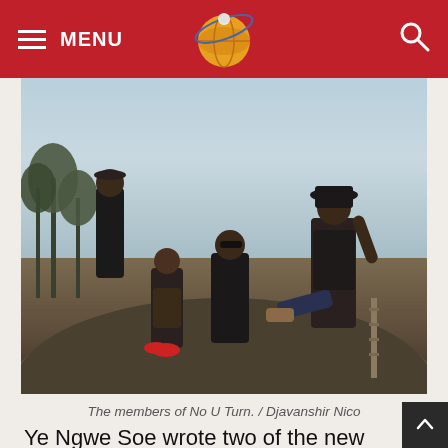MENU [logo] [search]
[Figure (photo): Four members of the band No U Turn posing on top of a large industrial pipe or tank, outdoors with palm trees and bright sky in background. Members wearing rock/punk style clothing.]
The members of No U Turn. / Djavanshir Nico
Ye Ngwe Soe wrote two of the new tracks and guitarist Eaiddhi wrote eight. Ba Nyar, from the band General Tiger Gun, and Thet Khine, from Kultureshock, wrote one